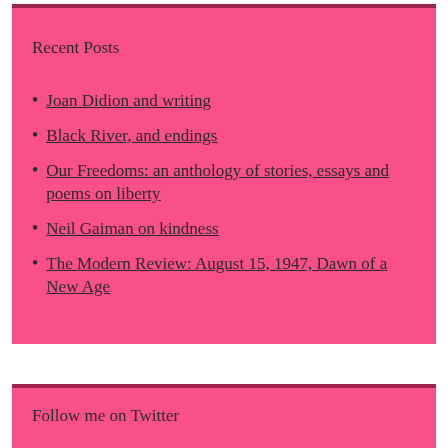Recent Posts
Joan Didion and writing
Black River, and endings
Our Freedoms: an anthology of stories, essays and poems on liberty
Neil Gaiman on kindness
The Modern Review: August 15, 1947, Dawn of a New Age
Follow me on Twitter